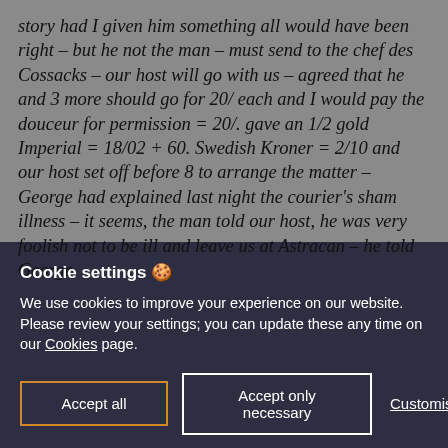story had I given him something all would have been right – but he not the man – must send to the chef des Cossacks – our host will go with us – agreed that he and 3 more should go for 20/ each and I would pay the douceur for permission = 20/. gave an 1/2 gold Imperial = 18/02 + 60. Swedish Kroner = 2/10 and our host set off before 8 to arrange the matter – George had explained last night the courier's sham illness – it seems, the man told our host, he was very foolish not to be ill and leave us at Astracan – he told George
Cookie settings 🍪
We use cookies to improve your experience on our website. Please review your settings; you can update these any time on our Cookies page.
Accept all
Accept only necessary
Customise